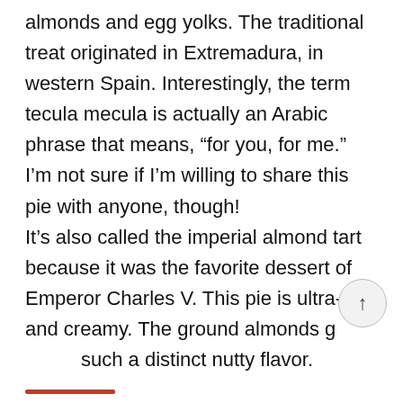almonds and egg yolks. The traditional treat originated in Extremadura, in western Spain. Interestingly, the term tecula mecula is actually an Arabic phrase that means, “for you, for me.” I’m not sure if I’m willing to share this pie with anyone, though! It’s also called the imperial almond tart because it was the favorite dessert of Emperor Charles V. This pie is ultra-rich and creamy. The ground almonds g such a distinct nutty flavor.